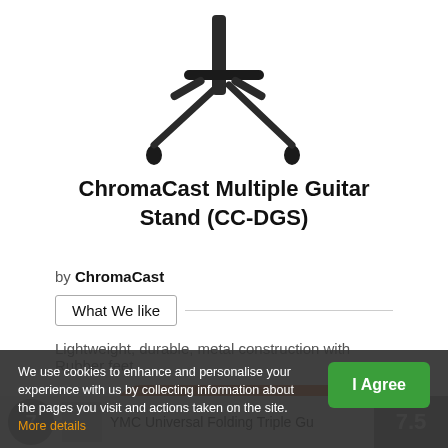[Figure (photo): Top portion of a black metal guitar stand on white background]
ChromaCast Multiple Guitar Stand (CC-DGS)
by ChromaCast
What We like
Lightweight, durable, metal construction with Rubber feet
View Deal at Amazon
We use cookies to enhance and personalise your experience with us by collecting information about the pages you visit and actions taken on the site. More details
I Agree
YMC Universal Folding Triple Gu
7.5